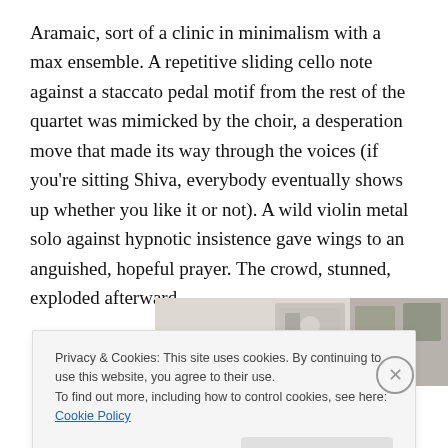Aramaic, sort of a clinic in minimalism with a max ensemble. A repetitive sliding cello note against a staccato pedal motif from the rest of the quartet was mimicked by the choir, a desperation move that made its way through the voices (if you're sitting Shiva, everybody eventually shows up whether you like it or not). A wild violin metal solo against hypnotic insistence gave wings to an anguished, hopeful prayer. The crowd, stunned, exploded afterward.
[Figure (photo): Partial photo strip showing items on a light surface, visible in upper right area of the lower page section]
Privacy & Cookies: This site uses cookies. By continuing to use this website, you agree to their use.
To find out more, including how to control cookies, see here: Cookie Policy